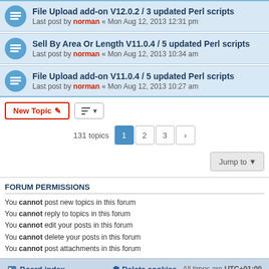File Upload add-on V12.0.2 / 3 updated Perl scripts — Last post by norman « Mon Aug 12, 2013 12:31 pm
Sell By Area Or Length V11.0.4 / 5 updated Perl scripts — Last post by norman « Mon Aug 12, 2013 10:34 am
File Upload add-on V11.0.4 / 5 updated Perl scripts — Last post by norman « Mon Aug 12, 2013 10:27 am
131 topics  1  2  3  >
Jump to
FORUM PERMISSIONS
You cannot post new topics in this forum
You cannot reply to topics in this forum
You cannot edit your posts in this forum
You cannot delete your posts in this forum
You cannot post attachments in this forum
Board index   Delete cookies   All times are UTC+01:00
Powered by phpBB® Forum Software © phpBB Limited
Privacy | Terms